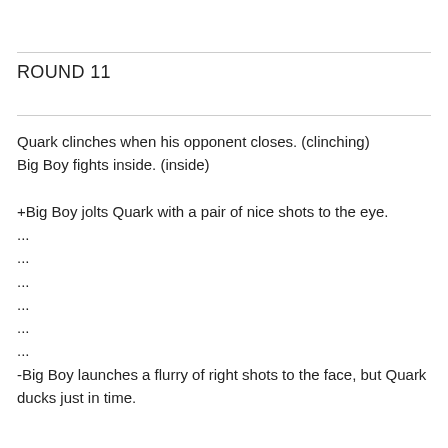ROUND 11
Quark clinches when his opponent closes. (clinching)
Big Boy fights inside. (inside)

+Big Boy jolts Quark with a pair of nice shots to the eye.
...
...
...
...
...
...
-Big Boy launches a flurry of right shots to the face, but Quark ducks just in time.